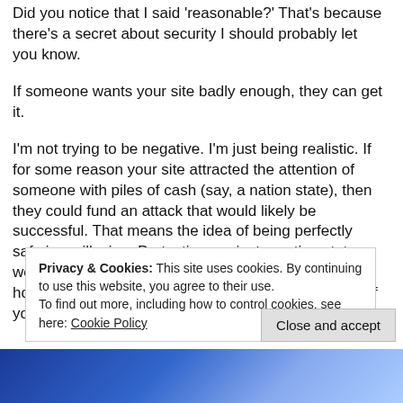Did you notice that I said 'reasonable?' That's because there's a secret about security I should probably let you know.
If someone wants your site badly enough, they can get it.
I'm not trying to be negative. I'm just being realistic. If for some reason your site attracted the attention of someone with piles of cash (say, a nation state), then they could fund an attack that would likely be successful. That means the idea of being perfectly safe is an illusion. Protecting against a nation state would take the resources of a nation state. And to be honest (and I don't think this will be shocking to any of you), my
Privacy & Cookies: This site uses cookies. By continuing to use this website, you agree to their use.
To find out more, including how to control cookies, see here: Cookie Policy
[Figure (photo): Blue toned image strip at bottom of page]